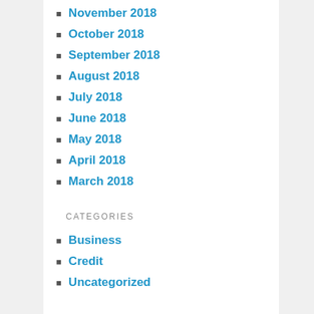November 2018
October 2018
September 2018
August 2018
July 2018
June 2018
May 2018
April 2018
March 2018
CATEGORIES
Business
Credit
Uncategorized
TAGS
administration advice apply automobile business cards carolina college compare credit debit definition enterprise evaluations